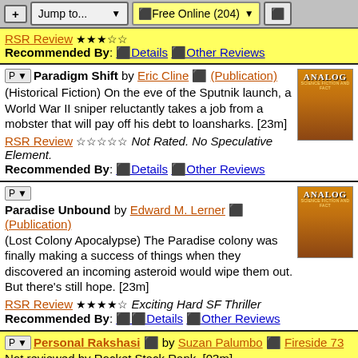+ Jump to... | Free Online (204) | [icon]
RSR Review ★★★☆☆ Recommended By: Details Other Reviews
Paradigm Shift by Eric Cline (Publication) (Historical Fiction) On the eve of the Sputnik launch, a World War II sniper reluctantly takes a job from a mobster that will pay off his debt to loansharks. [23m] RSR Review ☆☆☆☆☆ Not Rated. No Speculative Element. Recommended By: Details Other Reviews
Paradise Unbound by Edward M. Lerner (Publication) (Lost Colony Apocalypse) The Paradise colony was finally making a success of things when they discovered an incoming asteroid would wipe them out. But there's still hope. [23m] RSR Review ★★★★☆ Exciting Hard SF Thriller Recommended By: Details Other Reviews
Personal Rakshasi by Suzan Palumbo Fireside 73 Not reviewed by Rocket Stack Rank. [03m] Recommended By: Details Other Reviews